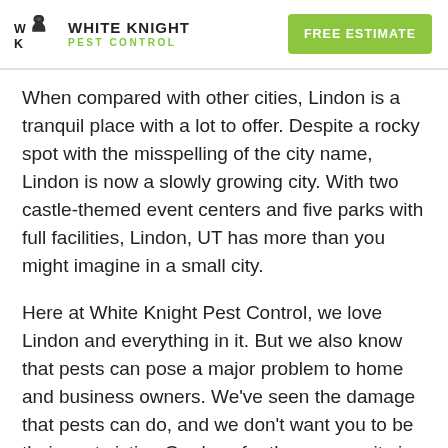[Figure (logo): White Knight Pest Control logo with knight chess piece icon and green/black text]
FREE ESTIMATE
When compared with other cities, Lindon is a tranquil place with a lot to offer. Despite a rocky spot with the misspelling of the city name, Lindon is now a slowly growing city. With two castle-themed event centers and five parks with full facilities, Lindon, UT has more than you might imagine in a small city.
Here at White Knight Pest Control, we love Lindon and everything in it. But we also know that pests can pose a major problem to home and business owners. We've seen the damage that pests can do, and we don't want you to be their next victim. Our love for the community is one of the reasons we work so hard to keep pests away. Our team of experts uses the m
[Figure (logo): reCAPTCHA badge with robot icon and Privacy - Terms text]